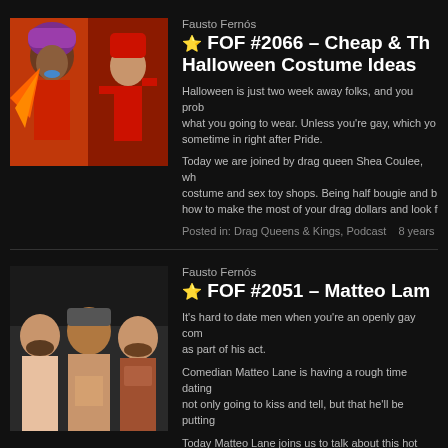Fausto Fernós
⭐ FOF #2066 – Cheap & Th Halloween Costume Ideas
Halloween is just two week away folks, and you prob what you going to wear. Unless you're gay, which yo sometime in right after Pride.
Today we are joined by drag queen Shea Coulee, wh costume and sex toy shops. Being half bougie and b how to make the most of your drag dollars and look f
Posted in: Drag Queens & Kings, Podcast   8 years
[Figure (photo): Drag queen performer in colorful costume]
Fausto Fernós
⭐ FOF #2051 – Matteo Lam
It's hard to date men when you're an openly gay com as part of his act.
Comedian Matteo Lane is having a rough time dating not only going to kiss and tell, but that he'll be putting
Today Matteo Lane joins us to talk about this hot guy with but who doesn't seem to want to put out.
[Figure (photo): Three men posing together, comedy photo]